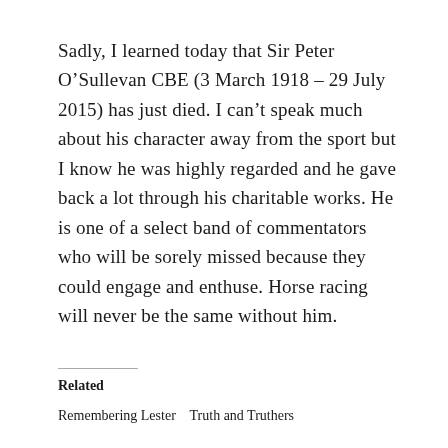Sadly, I learned today that Sir Peter O'Sullevan CBE (3 March 1918 – 29 July 2015) has just died. I can't speak much about his character away from the sport but I know he was highly regarded and he gave back a lot through his charitable works. He is one of a select band of commentators who will be sorely missed because they could engage and enthuse. Horse racing will never be the same without him.
Related
Remembering Lester   Truth and Truthers